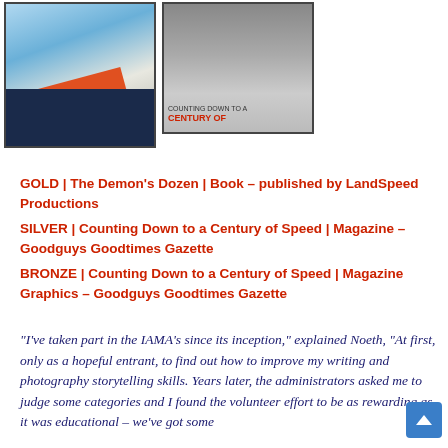[Figure (photo): Book cover for The Demon's Dozen published by LandSpeed Productions, showing a rocket/land speed vehicle on a dry lake bed with mountains in background, dark blue bottom panel]
[Figure (photo): Magazine cover for Counting Down to a Century of Speed, Goodguys Goodtimes Gazette, black and white photo of cars on a road, red text 'CENTURY OF' visible]
GOLD | The Demon's Dozen | Book – published by LandSpeed Productions
SILVER | Counting Down to a Century of Speed | Magazine – Goodguys Goodtimes Gazette
BRONZE | Counting Down to a Century of Speed | Magazine Graphics – Goodguys Goodtimes Gazette
“I’ve taken part in the IAMA’s since its inception,” explained Noeth, “At first, only as a hopeful entrant, to find out how to improve my writing and photography storytelling skills. Years later, the administrators asked me to judge some categories and I found the volunteer effort to be as rewarding as it was educational – we’ve got some